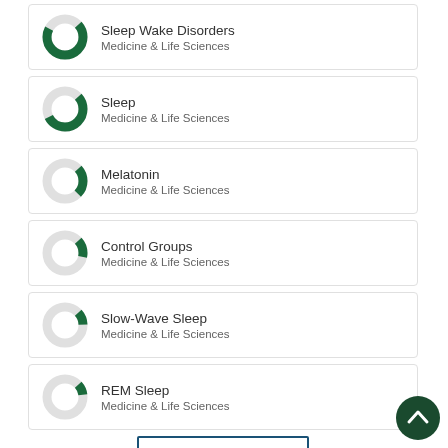Sleep Wake Disorders
Medicine & Life Sciences
Sleep
Medicine & Life Sciences
Melatonin
Medicine & Life Sciences
Control Groups
Medicine & Life Sciences
Slow-Wave Sleep
Medicine & Life Sciences
REM Sleep
Medicine & Life Sciences
View full fingerprint ›